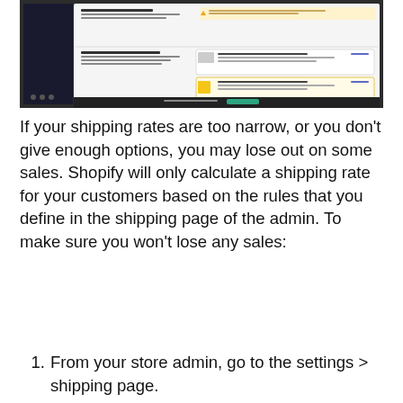[Figure (screenshot): Screenshot of a Shopify admin shipping settings page showing carrier calculated shipping and fulfillment and dropshipping options with warning banners and app listings.]
If your shipping rates are too narrow, or you don't give enough options, you may lose out on some sales. Shopify will only calculate a shipping rate for your customers based on the rules that you define in the shipping page of the admin. To make sure you won't lose any sales:
1. From your store admin, go to the settings > shipping page.